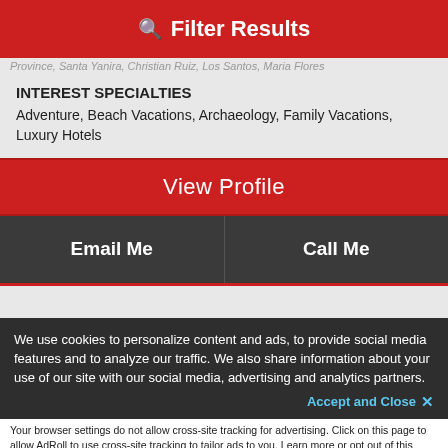Filter Results
...Province, Santa Yanira, Christian Ruiz, Los Santos, Maria Flores
INTEREST SPECIALTIES
Adventure, Beach Vacations, Archaeology, Family Vacations, Luxury Hotels
View Profile
Email Me
Call Me
AMY URQUHART
We use cookies to personalize content and ads, to provide social media features and to analyze our traffic. We also share information about your use of our site with our social media, advertising and analytics partners.
Specialist with Pure Magic
Accept and Close ✕
Your browser settings do not allow cross-site tracking for advertising. Click on this page to allow AdRoll to use cross-site tracking to tailor ads to you. Learn more or opt out of this AdRoll tracking by clicking here. This message only appears once.